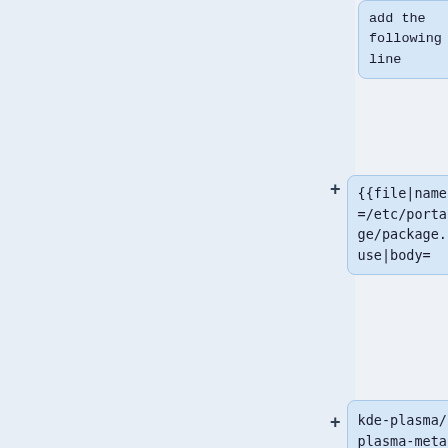add the following line
{{file|name=/etc/portage/package.use|body=
kde-plasma/plasma-meta gtk
}}
Once this is done re-emerge plasma-meta to install the GTK+